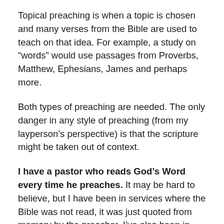Topical preaching is when a topic is chosen and many verses from the Bible are used to teach on that idea. For example, a study on “words” would use passages from Proverbs, Matthew, Ephesians, James and perhaps more.
Both types of preaching are needed. The only danger in any style of preaching (from my layperson’s perspective) is that the scripture might be taken out of context.
I have a pastor who reads God’s Word every time he preaches. It may be hard to believe, but I have been in services where the Bible was not read, it was just quoted from memory by the preacher. I’ve also been in services where the pastor just reads a scripture and then goes on and on for an hour, never leading the listener back to the Bible at all. In preaching, the Bible should be front and center.